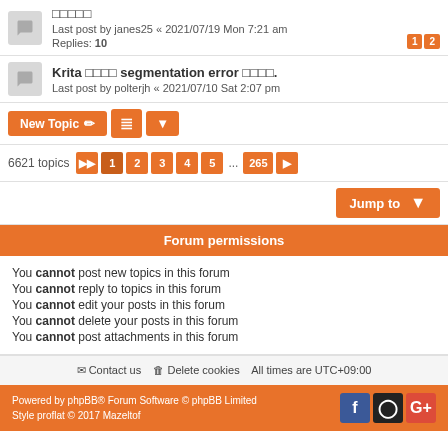□□□□□ Last post by janes25 « 2021/07/19 Mon 7:21 am Replies: 10
Krita □□□□ segmentation error □□□□. Last post by polterjh « 2021/07/10 Sat 2:07 pm
New Topic | sort | dropdown
6621 topics 1 2 3 4 5 ... 265
Jump to
Forum permissions
You cannot post new topics in this forum
You cannot reply to topics in this forum
You cannot edit your posts in this forum
You cannot delete your posts in this forum
You cannot post attachments in this forum
Contact us   Delete cookies   All times are UTC+09:00
Powered by phpBB® Forum Software © phpBB Limited Style proflat © 2017 Mazeltof